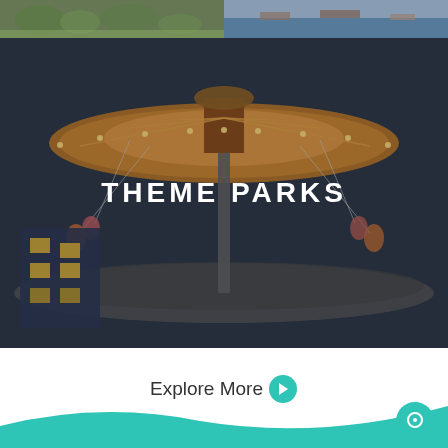[Figure (photo): Two images side by side at top: left shows a green park with people, right shows a waterfront/harbor scene with boats]
[Figure (photo): Large photo of an illuminated amusement park swing ride (chair swing/carousel) at dusk/night, with riders swinging outward. Dark overlay with text THEME PARKS centered in white bold uppercase letters.]
THEME PARKS
Explore More →
[Figure (illustration): Teal wave/swoosh footer graphic at bottom of page with a teal circular chat/support icon in the bottom right corner]